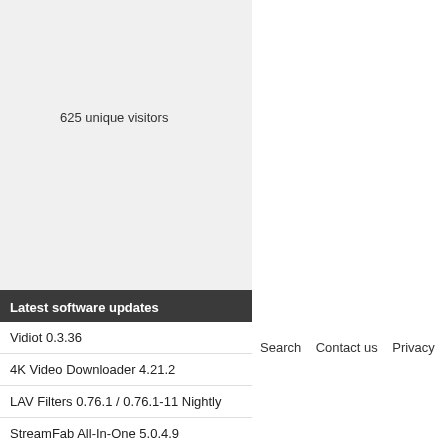625 unique visitors
Latest software updates
Vidiot 0.3.36
4K Video Downloader 4.21.2
LAV Filters 0.76.1 / 0.76.1-11 Nightly
StreamFab All-In-One 5.0.4.9
ProgTV 2.20.3
Search   Contact us   Privacy